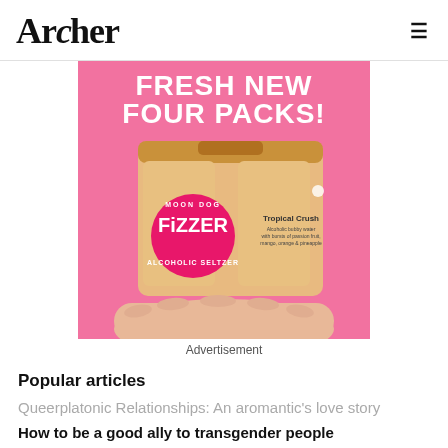Archer
[Figure (photo): Advertisement for Moon Dog Fizzer Alcoholic Seltzer - Tropical Crush four pack, showing a hand holding four cans in a cardboard carrier on a bright pink background with bold white text reading 'FRESH NEW FOUR PACKS!']
Advertisement
Popular articles
Queerplatonic Relationships: An aromantic's love story
How to be a good ally to transgender people
Intergenerational friendship: The dads are alright